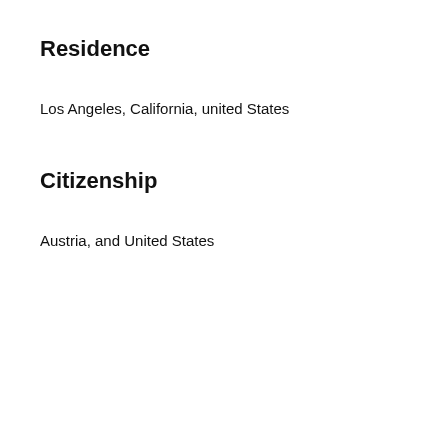Residence
Los Angeles, California, united States
Citizenship
Austria, and United States